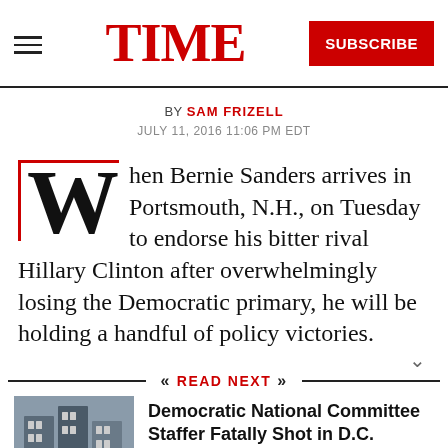TIME — SUBSCRIBE
BY SAM FRIZELL
JULY 11, 2016 11:06 PM EDT
When Bernie Sanders arrives in Portsmouth, N.H., on Tuesday to endorse his bitter rival Hillary Clinton after overwhelmingly losing the Democratic primary, he will be holding a handful of policy victories.
READ NEXT
Democratic National Committee Staffer Fatally Shot in D.C.